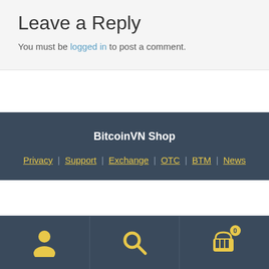Leave a Reply
You must be logged in to post a comment.
BitcoinVN Shop
Privacy | Support | Exchange | OTC | BTM | News